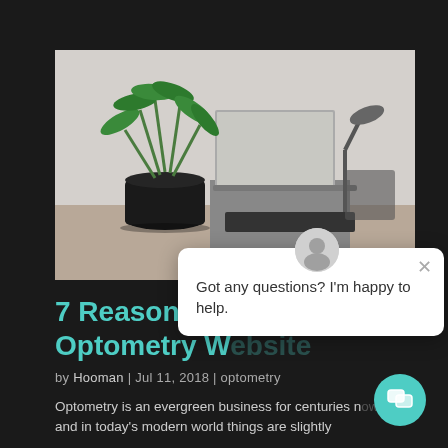[Figure (photo): Office desk scene with green plant in glass vase, laptop, and desk lamp on a light gray background]
[Figure (screenshot): Chat widget popup overlay showing avatar icon, close button X, and message 'Got any questions? I'm happy to help.' with teal chat button]
7 Reasons People Need an Optometry Website
by Hooman | Jul 11, 2018 | optometry
Optometry is an evergreen business for centuries now and in today's modern world things are slightly